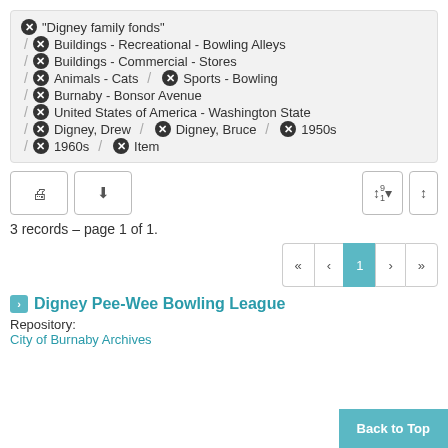⊗ "Digney family fonds"
/ ⊗ Buildings - Recreational - Bowling Alleys
/ ⊗ Buildings - Commercial - Stores
/ ⊗ Animals - Cats / ⊗ Sports - Bowling
/ ⊗ Burnaby - Bonsor Avenue
/ ⊗ United States of America - Washington State
/ ⊗ Digney, Drew / ⊗ Digney, Bruce / ⊗ 1950s
/ ⊗ 1960s / ⊗ Item
3 records – page 1 of 1.
« < 1 > »
Digney Pee-Wee Bowling League
Repository:
City of Burnaby Archives